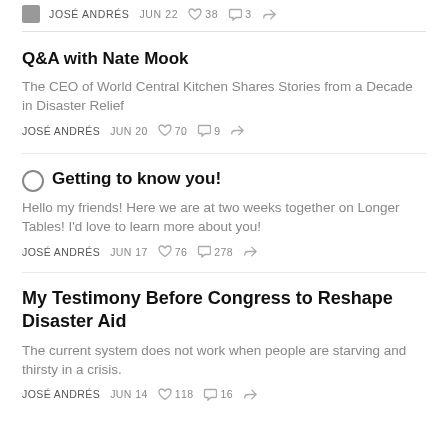JOSÉ ANDRÉS  JUN 22  ♡ 38  ◯ 3  share
Q&A with Nate Mook
The CEO of World Central Kitchen Shares Stories from a Decade in Disaster Relief
JOSÉ ANDRÉS  JUN 20  ♡ 70  ◯ 9  share
Getting to know you!
Hello my friends! Here we are at two weeks together on Longer Tables! I'd love to learn more about you!
JOSÉ ANDRÉS  JUN 17  ♡ 76  ◯ 278  share
My Testimony Before Congress to Reshape Disaster Aid
The current system does not work when people are starving and thirsty in a crisis.
JOSÉ ANDRÉS  JUN 14  ♡ 118  ◯ 16  share